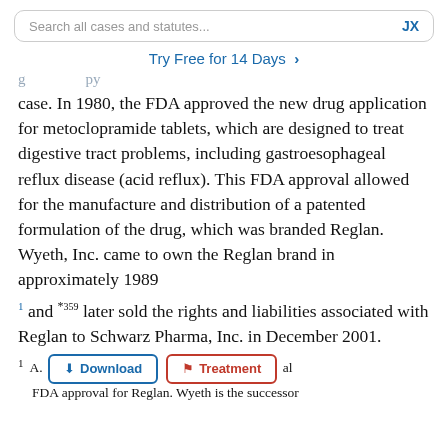Search all cases and statutes...   JX
Try Free for 14 Days >
case. In 1980, the FDA approved the new drug application for metoclopramide tablets, which are designed to treat digestive tract problems, including gastroesophageal reflux disease (acid reflux). This FDA approval allowed for the manufacture and distribution of a patented formulation of the drug, which was branded Reglan. Wyeth, Inc. came to own the Reglan brand in approximately 1989
1 and *359 later sold the rights and liabilities associated with Reglan to Schwarz Pharma, Inc. in December 2001.
1  A. [Download] [Treatment] al FDA approval for Reglan. Wyeth is the successor